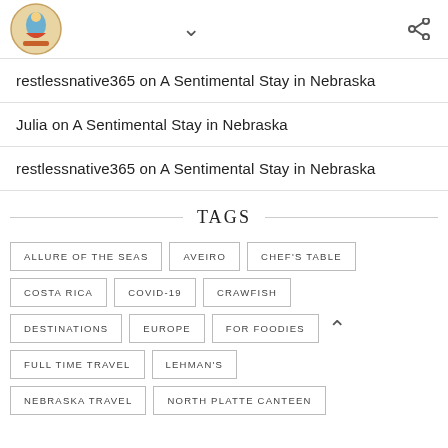Logo, chevron down, share icon
restlessnative365 on A Sentimental Stay in Nebraska
Julia on A Sentimental Stay in Nebraska
restlessnative365 on A Sentimental Stay in Nebraska
TAGS
ALLURE OF THE SEAS
AVEIRO
CHEF'S TABLE
COSTA RICA
COVID-19
CRAWFISH
DESTINATIONS
EUROPE
FOR FOODIES
FULL TIME TRAVEL
LEHMAN'S
NEBRASKA TRAVEL
NORTH PLATTE CANTEEN